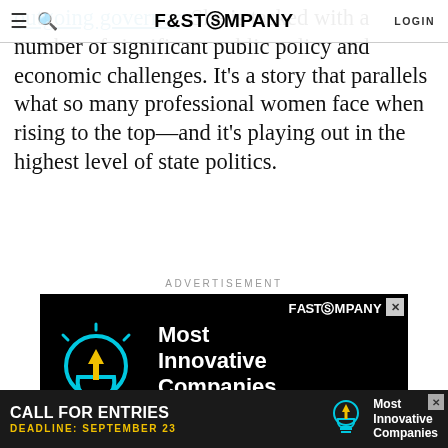FAST COMPANY | LOGIN
outgoing governor. She is tasked with a number of significant public policy and economic challenges. It's a story that parallels what so many professional women face when rising to the top—and it's playing out in the highest level of state politics.
ADVERTISEMENT
[Figure (infographic): Fast Company advertisement: Most Innovative Companies Call for Entries. Black background with cyan light bulb icon (yellow arrow inside). Text: 'Most Innovative Companies', 'CALL FOR ENTRIES', 'APPLY NOW' button in yellow, 'APPLICATION DEADLINE: SEPTEMBER 23']
[Figure (infographic): Bottom banner ad: 'CALL FOR ENTRIES DEADLINE: SEPTEMBER 23' with light bulb icon and 'Most Innovative Companies' text on dark background]